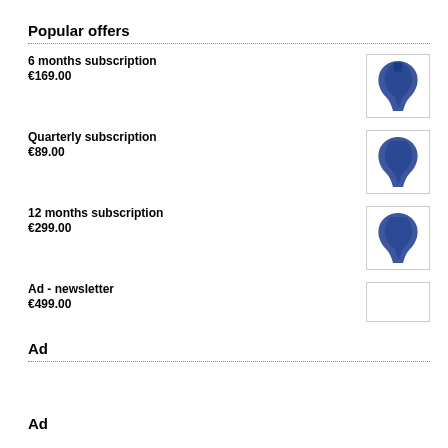Popular offers
6 months subscription
€169.00
Quarterly subscription
€89.00
12 months subscription
€299.00
Ad - newsletter
€499.00
Ad
Ad